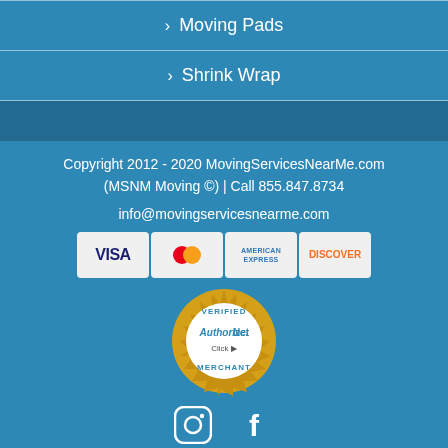> Moving Pads
> Shrink Wrap
Copyright 2012 - 2020 MovingServicesNearMe.com (MSNM Moving ©) | Call 855.847.8734
info@movingservicesnearme.com
[Figure (logo): Payment method logos: VISA, MasterCard, American Express, Discover]
[Figure (logo): Authorize.Net Verified Merchant seal with gold badge showing VERIFIED, Click, MERCHANT text]
[Figure (logo): Instagram and Facebook social media icons]